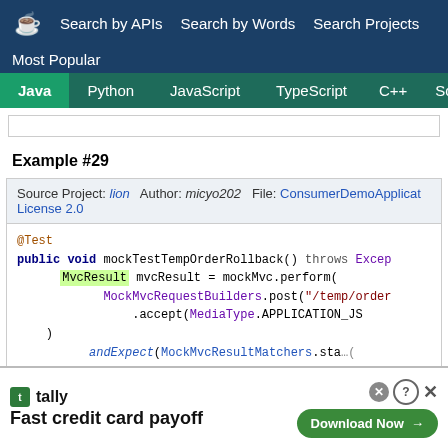Search by APIs   Search by Words   Search Projects
Most Popular
Java   Python   JavaScript   TypeScript   C++   Scala
Example #29
Source Project: lion   Author: micyo202   File: ConsumerDemoApplicat...   License 2.0
[Figure (screenshot): Java code snippet showing @Test annotation, public void mockTestTempOrderRollback() throws Excep... with MvcResult mvcResult = mockMvc.perform( MockMvcRequestBuilders.post("/temp/order...) .accept(MediaType.APPLICATION_JS...) ) andExpect(MockMvcResultMatchers.sta...(]
[Figure (screenshot): Advertisement banner for Tally: Fast credit card payoff, with Download Now button and close/help controls]